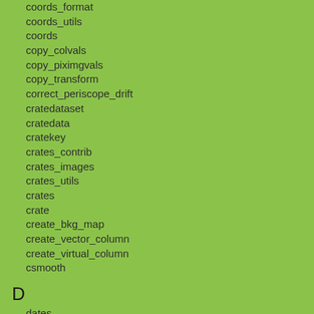coords_format
coords_utils
coords
copy_colvals
copy_piximgvals
copy_transform
correct_periscope_drift
cratedataset
cratedata
cratekey
crates_contrib
crates_images
crates_utils
crates
crate
create_bkg_map
create_vector_column
create_virtual_column
csmooth
D
dates
dax
deflare
delete_col
delete_key
delete_piximg
destreak
detilt
dewiggle
dither_region